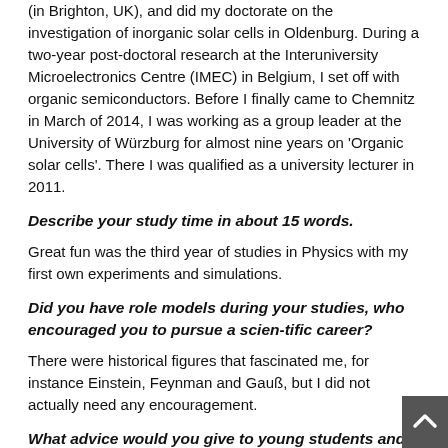(in Brighton, UK), and did my doctorate on the investigation of inorganic solar cells in Oldenburg. During a two-year post-doctoral research at the Interuniversity Microelectronics Centre (IMEC) in Belgium, I set off with organic semiconductors. Before I finally came to Chemnitz in March of 2014, I was working as a group leader at the University of Würzburg for almost nine years on 'Organic solar cells'. There I was qualified as a university lecturer in 2011.
Describe your study time in about 15 words.
Great fun was the third year of studies in Physics with my first own experiments and simulations.
Did you have role models during your studies, who encouraged you to pursue a scien-tific career?
There were historical figures that fascinated me, for instance Einstein, Feynman and Gauß, but I did not actually need any encouragement.
What advice would you give to young students and graduates?
If someone wants to find out or create something new, one needs